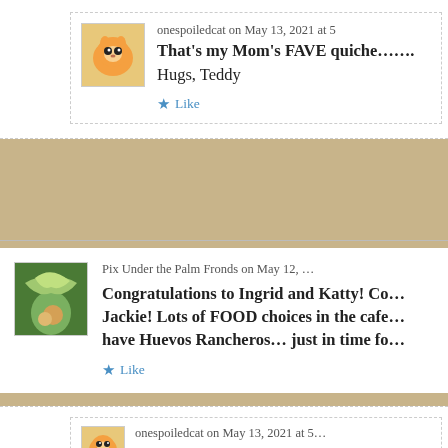onespoiledcat on May 13, 2021 at 5…
That's my Mom's FAVE quiche……..
Hugs, Teddy
★ Like
Pix Under the Palm Fronds on May 12, …
Congratulations to Ingrid and Katty! Co… Jackie! Lots of FOOD choices in the cafe… have Huevos Rancheros… just in time fo…
★ Like
onespoiledcat on May 13, 2021 at 5…